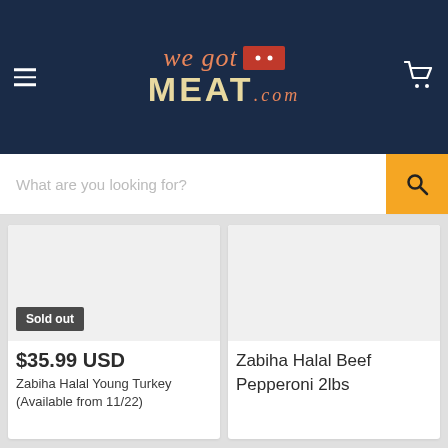[Figure (logo): wegotMEAT.com logo on dark navy background with hamburger menu and cart icon]
What are you looking for?
[Figure (photo): Product image area (gray background) for Zabiha Halal Young Turkey with Sold out badge]
$35.99 USD
Zabiha Halal Young Turkey (Available from 11/22)
Zabiha Halal Beef Pepperoni 2lbs